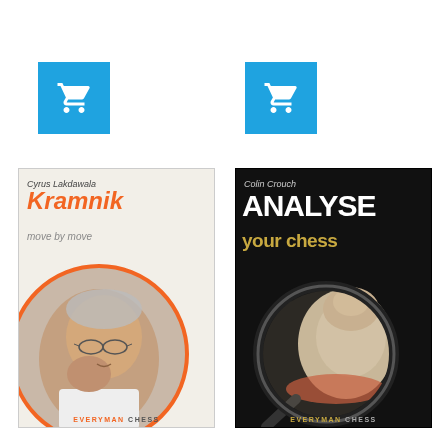[Figure (screenshot): Blue shopping cart button icon, left side]
[Figure (screenshot): Blue shopping cart button icon, right side]
[Figure (illustration): Book cover: Kramnik Move by Move by Cyrus Lakdawala, Everyman Chess. White background with orange title, photo of Kramnik thinking, circular crop with orange ring border.]
[Figure (illustration): Book cover: Analyse Your Chess by Colin Crouch, Everyman Chess. Black background with white ANALYSE title, gold 'your chess' subtitle, chess piece under magnifying glass graphic.]